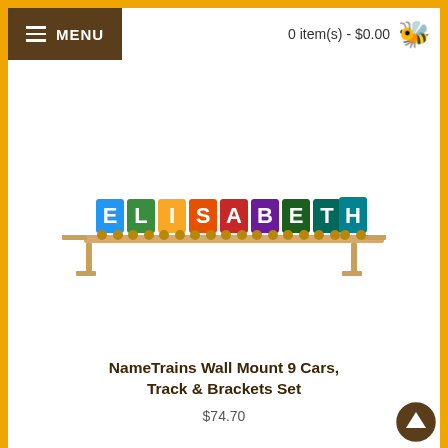MENU   0 item(s) - $0.00
[Figure (photo): Wooden name train spelling ELISABETH mounted on a wall shelf with brackets. Each letter is a colorful wooden train car on a track.]
NameTrains Wall Mount 9 Cars, Track & Brackets Set
$74.70